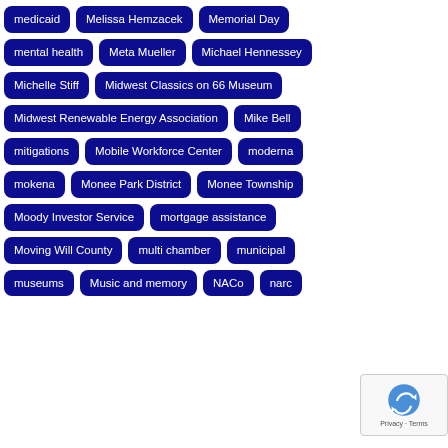medicaid
Melissa Hemzacek
Memorial Day
mental health
Meta Mueller
Michael Hennessey
Michelle Stiff
Midwest Classics on 66 Museum
Midwest Renewable Energy Association
Mike Bell
mitigations
Mobile Workforce Center
moderna
mokena
Monee Park District
Monee Township
Moody Investor Service
mortgage assistance
Moving Will County
multi chamber
municipal
museums
Music and memory
NACo
narc